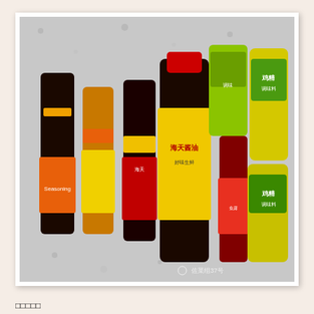[Figure (photo): Photo of various Chinese condiment bottles and packages arranged on a granite surface: Maggi Seasoning sauce, light soy sauce bottles, Haitian soy sauce large bottle, dark soy sauce, fish sauce, and two yellow bags of chicken seasoning (调味料). Watermark reads 佐菜组37号.]
□□□□□
SoySauce □□
LightSoy Sauce □□
DarkSoy Sauce □□
FishSauce □□
SushiVinege □□□